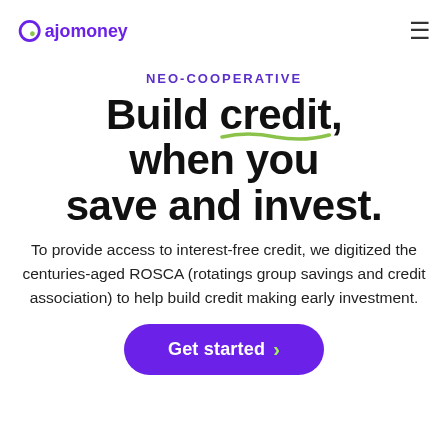ajomoney
NEO-COOPERATIVE
Build credit, when you save and invest.
To provide access to interest-free credit, we digitized the centuries-aged ROSCA (rotatings group savings and credit association) to help build credit making early investment.
Get started